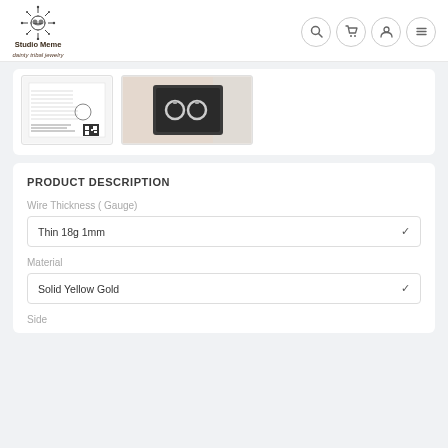[Figure (logo): Studio Meme dainty tribal jewelry logo with decorative heart/snowflake motif]
[Figure (screenshot): Thumbnail images: a sizing chart document and a black jewelry box with hoop earrings]
PRODUCT DESCRIPTION
Wire Thickness ( Gauge)
Thin 18g 1mm
Material
Solid Yellow Gold
Side